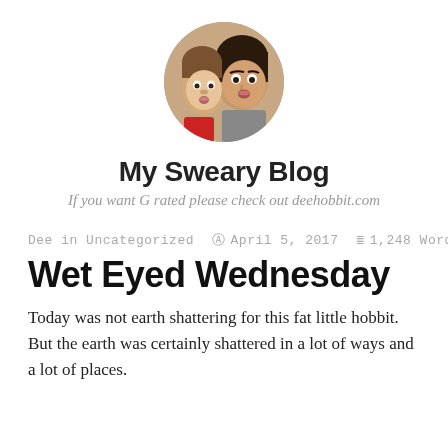[Figure (photo): Circular profile photo of two people making silly faces — a young child and a woman — cropped in a circle]
My Sweary Blog
If you want G rated please check out deehobbit.com
Dee in Uncategorized  ⊙ April 5, 2017  ≡ 1,248 Words
Wet Eyed Wednesday
Today was not earth shattering for this fat little hobbit.  But the earth was certainly shattered in a lot of ways and a lot of places.